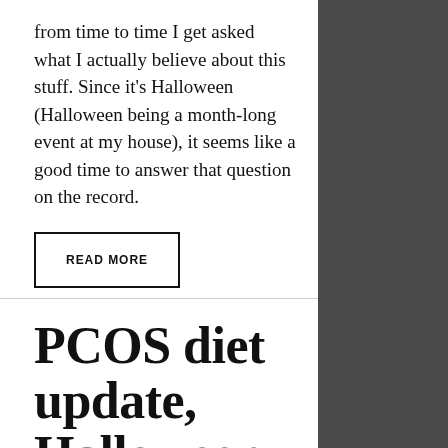from time to time I get asked what I actually believe about this stuff. Since it's Halloween (Halloween being a month-long event at my house), it seems like a good time to answer that question on the record.
READ MORE
PCOS diet update, Halloween